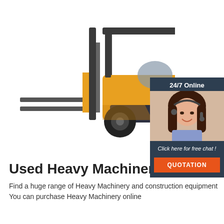[Figure (illustration): Yellow and grey LT530 forklift truck on white background, viewed from the left side, with forks extended forward and overhead guard visible]
[Figure (infographic): 24/7 Online chat widget: dark navy background with '24/7 Online' header text, photo of a smiling female customer service representative with headset, 'Click here for free chat!' italic text, and orange 'QUOTATION' button]
Used Heavy Machinery
Find a huge range of Heavy Machinery and construction equipment You can purchase Heavy Machinery online